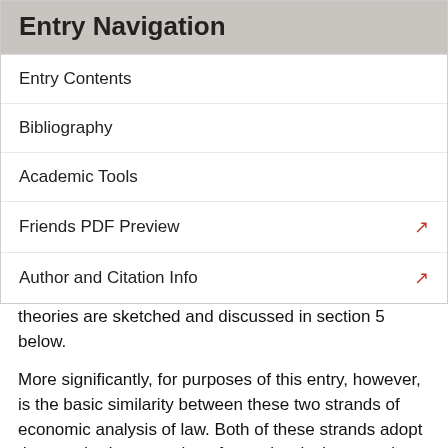Entry Navigation
Entry Contents
Bibliography
Academic Tools
Friends PDF Preview
Author and Citation Info
theories are sketched and discussed in section 5 below.
More significantly, for purposes of this entry, however, is the basic similarity between these two strands of economic analysis of law. Both of these strands adopt the standard assumption of neo-classical economics that each individual seeks to maximize her preferences. Moreover, they generally assume that each individual acts in her own self-interest, narrowly defined. This approach presents the single, greatest obstacle to the articulation of a general theory of law that confronts economic analysis: it has no